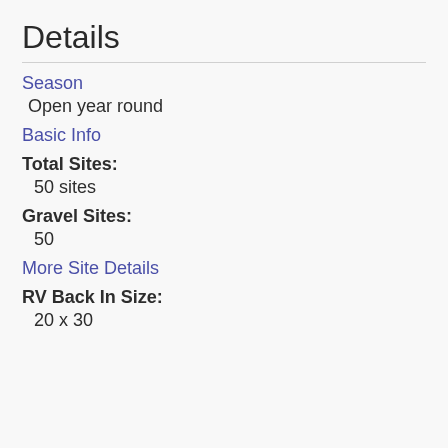Details
Season
Open year round
Basic Info
Total Sites:
50 sites
Gravel Sites:
50
More Site Details
RV Back In Size:
20 x 30